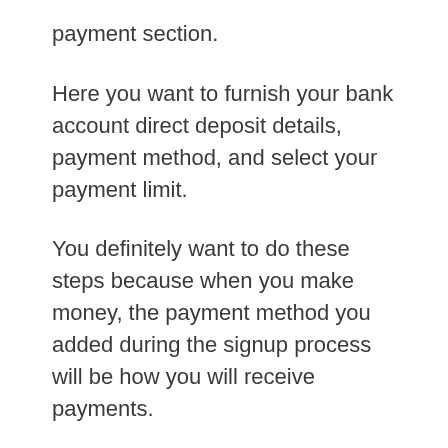payment section.
Here you want to furnish your bank account direct deposit details, payment method, and select your payment limit.
You definitely want to do these steps because when you make money, the payment method you added during the signup process will be how you will receive payments.
Also, you have the option to receive payments by electronic transfer. Using wire transfer is more geared for international affiliates.